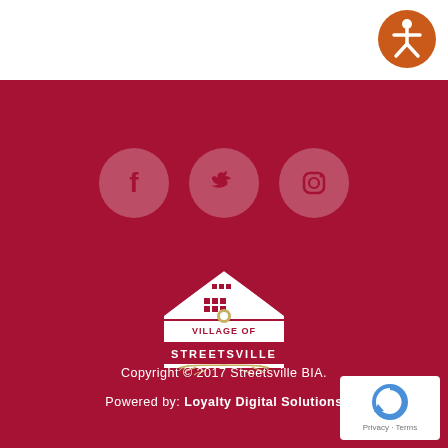[Figure (logo): Accessibility icon button — orange circle with white stick person figure, top-right corner]
[Figure (infographic): Three social media icon circles (Facebook, Twitter, Instagram) on dark red background]
[Figure (logo): Village of Streetsville logo — house silhouette with text 'VILLAGE OF STREETSVILLE' and wheat/laurel emblem]
Copyright © 2017 Streetsville BIA.
Powered by: Loyalty Digital Solutions
[Figure (logo): Google reCAPTCHA badge with 'Privacy - Terms' text, bottom-right corner]